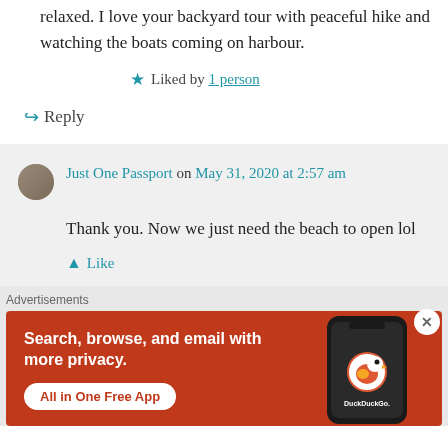relaxed. I love your backyard tour with peaceful hike and watching the boats coming on harbour.
★ Liked by 1 person
↪ Reply
Just One Passport on May 31, 2020 at 2:57 am
Thank you. Now we just need the beach to open lol
▲ Like
Advertisements
[Figure (screenshot): DuckDuckGo advertisement banner: orange background with white text 'Search, browse, and email with more privacy.' and 'All in One Free App' button, alongside a dark phone mockup with DuckDuckGo logo]